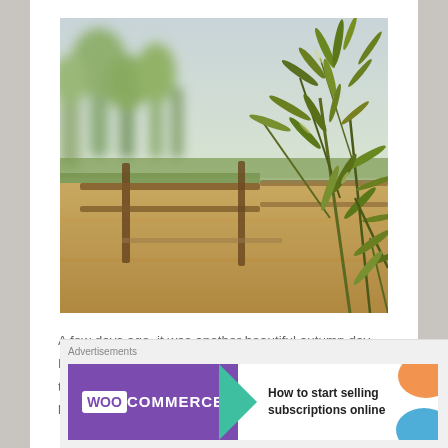[Figure (photo): Outdoor countryside scene with green leafy branches in the foreground (right side), a wooden fence rail in the middle distance, dry brown paddock ground, and blurred green trees and misty sky in the background. Warm autumn daylight.]
A few days ago, it was another beautiful autumn day. Nazir dozed in his mini-paddock when I arrived at the stable. The air was warm and the smell of dried leaves and earth made
[Figure (other): WooCommerce advertisement banner. Purple left panel with WooCommerce logo and teal arrow. Right panel with orange and blue decorative shapes and text: How to start selling subscriptions online]
Advertisements